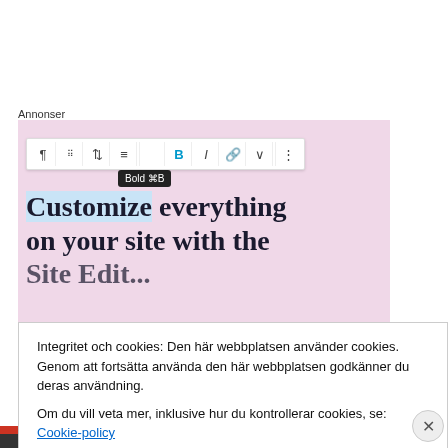Annonser
[Figure (screenshot): WordPress block editor screenshot showing a toolbar with Bold (⌘B) tooltip active, and text reading 'Customize everything on your site with the Site Edit...' on a pink background]
Press:
Though it is spattered with stage blood from beginning to
Integritet och cookies: Den här webbplatsen använder cookies. Genom att fortsätta använda den här webbplatsen godkänner du deras användning.
Om du vill veta mer, inklusive hur du kontrollerar cookies, se: Cookie-policy
Stäng och acceptera